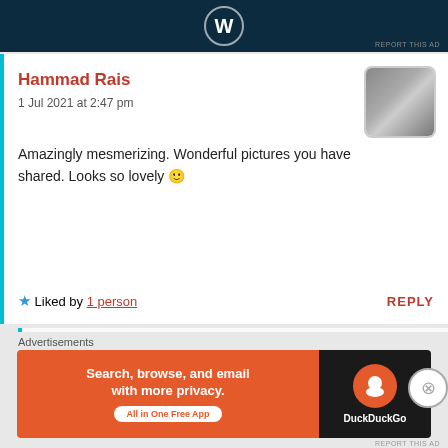[Figure (screenshot): Top advertisement banner with WordPress logo on dark navy background]
REPORT THIS AD
Hammad Rais
1 Jul 2021 at 2:47 pm
Amazingly mesmerizing. Wonderful pictures you have shared. Looks so lovely 🙂
★ Liked by 1 person   REPLY
Away We Go
1 Jul 2021 at 9:01 pm
Thank you so much Hammad! So glad you are enjoying our incredible experience, the Himalayas are truly special and we
Advertisements
[Figure (screenshot): DuckDuckGo advertisement banner: Search, browse, and email with more privacy. All in One Free App]